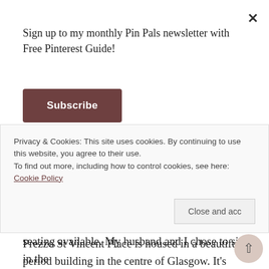Sign up to my monthly Pin Pals newsletter with Free Pinterest Guide!
Subscribe
fresh ingredients. This was my first visit there and I'd definitely go back.
Prezzo St Vincent Place is housed in a beautiful period building in the centre of Glasgow. It's handily near Queen Street station and in easy walking distance from
Privacy & Cookies: This site uses cookies. By continuing to use this website, you agree to their use.
To find out more, including how to control cookies, see here: Cookie Policy
Close and acc
seating available. My husband and I chose to sit in the